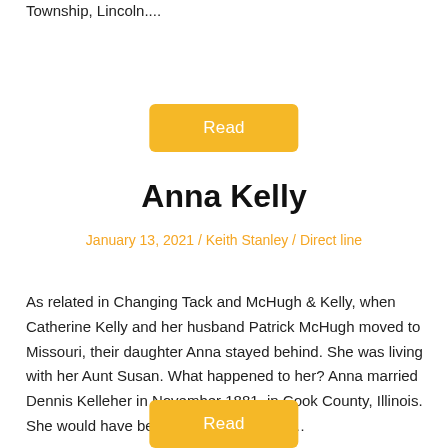Township, Lincoln....
Read
Anna Kelly
January 13, 2021 / Keith Stanley / Direct line
As related in Changing Tack and McHugh & Kelly, when Catherine Kelly and her husband Patrick McHugh moved to Missouri, their daughter Anna stayed behind. She was living with her Aunt Susan. What happened to her? Anna married Dennis Kelleher in November 1881, in Cook County, Illinois. She would have been about 26 years of…
Read